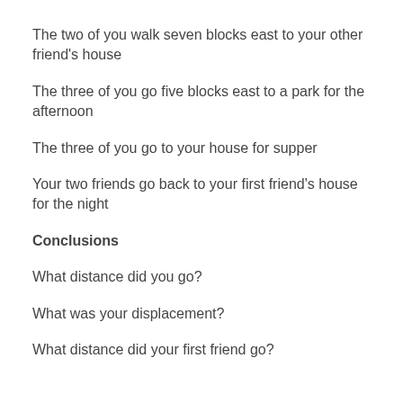The two of you walk seven blocks east to your other friend's house
The three of you go five blocks east to a park for the afternoon
The three of you go to your house for supper
Your two friends go back to your first friend's house for the night
Conclusions
What distance did you go?
What was your displacement?
What distance did your first friend go?